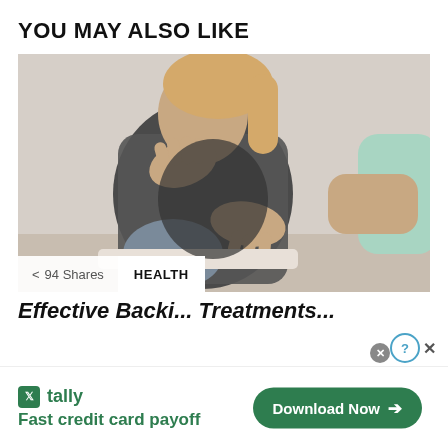YOU MAY ALSO LIKE
[Figure (photo): A person sitting while a healthcare professional (in light green scrubs) uses both hands to examine or massage the person's lower back. The patient is wearing a grey T-shirt and grey pants.]
< 94 Shares
HEALTH
Effective Backi... Treatments...
[Figure (other): Advertisement for Tally app: green icon with letter T, brand name 'tally', slogan 'Fast credit card payoff', and a green 'Download Now' button with arrow. Includes close/help icons.]